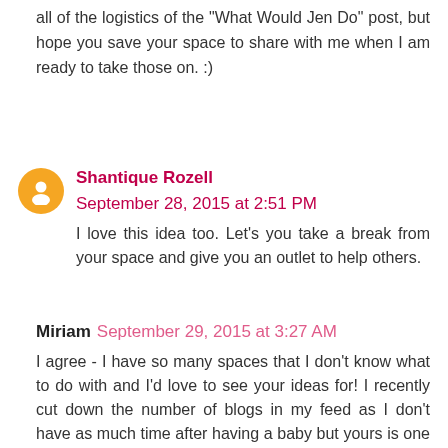all of the logistics of the "What Would Jen Do" post, but hope you save your space to share with me when I am ready to take those on. :)
Shantique Rozell  September 28, 2015 at 2:51 PM
I love this idea too. Let's you take a break from your space and give you an outlet to help others.
Miriam  September 29, 2015 at 3:27 AM
I agree - I have so many spaces that I don't know what to do with and I'd love to see your ideas for! I recently cut down the number of blogs in my feed as I don't have as much time after having a baby but yours is one I always make time for; I think it is the way you write as much as the great ideas. I really enjoy the quick simple ideas as much as the big projects as they are something I can take on myself. I really hope you manage to